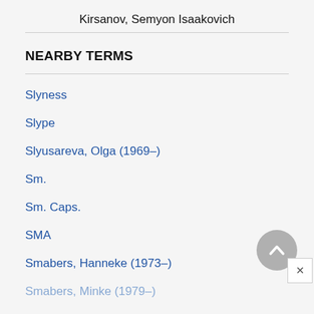Kirsanov, Semyon Isaakovich
NEARBY TERMS
Slyness
Slype
Slyusareva, Olga (1969–)
Sm.
Sm. Caps.
SMA
Smabers, Hanneke (1973–)
Smabers, Minke (1979–)